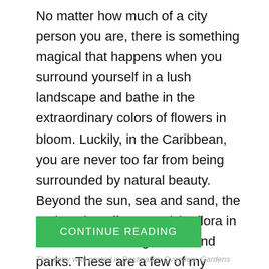No matter how much of a city person you are, there is something magical that happens when you surround yourself in a lush landscape and bathe in the extraordinary colors of flowers in bloom. Luckily, in the Caribbean, you are never too far from being surrounded by natural beauty. Beyond the sun, sea and sand, the region also offers exquisite flora in must-visit botanic gardens and parks. These are a few of my favorite places that feature some of the most unique and picturesque vegetation in the world.
CONTINUE READING
This entry was posted in Destination Overview, Gardens